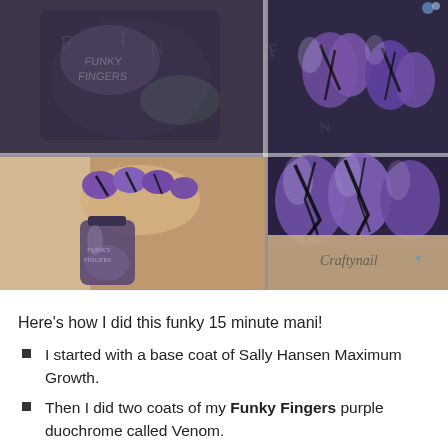[Figure (photo): Photo collage of purple duochrome nail art with crackle/shatter effect. Top left: close-up of nail polish bottle labeled Funky Fingers. Top right: close-up of nails with purple and black crackle pattern. Main left: hand holding a Funky Fingers nail polish bottle, nails painted purple with black crackle. Main right: extreme close-up of purple nails with black crackle design, watermark 'Craftynail' visible.]
Here's how I did this funky 15 minute mani!
I started with a base coat of Sally Hansen Maximum Growth.
Then I did two coats of my Funky Fingers purple duochrome called Venom.